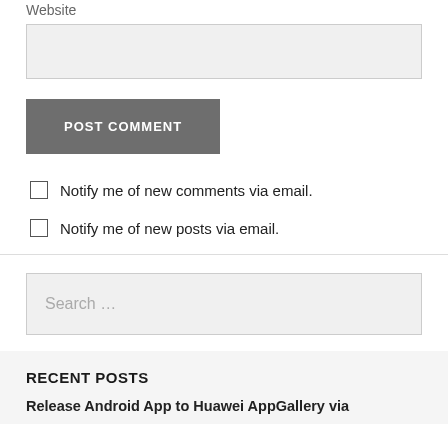Website
[Figure (screenshot): Empty text input field for website URL]
POST COMMENT
Notify me of new comments via email.
Notify me of new posts via email.
[Figure (screenshot): Search input box with placeholder text 'Search ...']
RECENT POSTS
Release Android App to Huawei AppGallery via